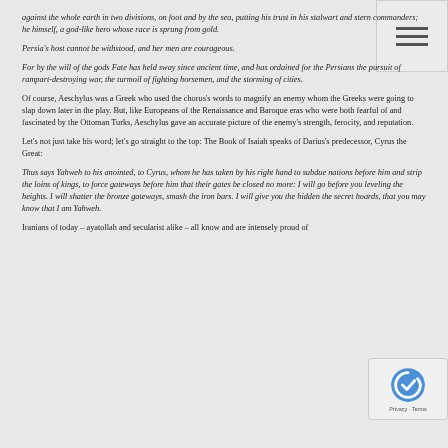against the whole earth in two divisions, on foot and by the sea, putting his trust in his stalwart and stern commanders; he himself, a god-like hero whose race is sprung from gold.
Persia's host cannot be withstood, and her men are courageous.
For by the will of the gods Fate has held sway since ancient time, and has ordained for the Persians the pursuit of rampart-destroying war, the turmoil of fighting horsemen, and the storming of cities.
Of course, Aeschylus was a Greek who used the chorus's words to magnify an enemy whom the Greeks were going to slap down later in the play. But, like Europeans of the Renaissance and Baroque eras who were both fearful of and fascinated by the Ottoman Turks, Aeschylus gave an accurate picture of the enemy's strength, ferocity, and reputation.
Let's not just take his word; let's go straight to the top: The Book of Isaiah speaks of Darius's predecessor, Cyrus the Great:
Thus says Yahweh to his anointed, to Cyrus, whom he has taken by his right hand to subdue nations before him and strip the loins of kings, to force gateways before him that their gates be closed no more: I will go before you leveling the heights. I will shatter the bronze gateways, smash the iron bars. I will give you the hidden the secret hoards, that you may know that I am Yahweh.
Iranians of today – ayatollah and secularist alike – all know and are intensely proud of